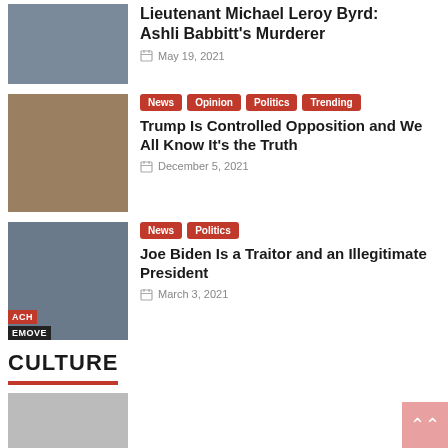Lieutenant Michael Leroy Byrd: Ashli Babbitt's Murderer
May 19, 2021
Tags: News, Opinion, Politics, Trending
Trump Is Controlled Opposition and We All Know It's the Truth
December 5, 2021
Tags: News, Politics
Joe Biden Is a Traitor and an Illegitimate President
March 3, 2021
CULTURE